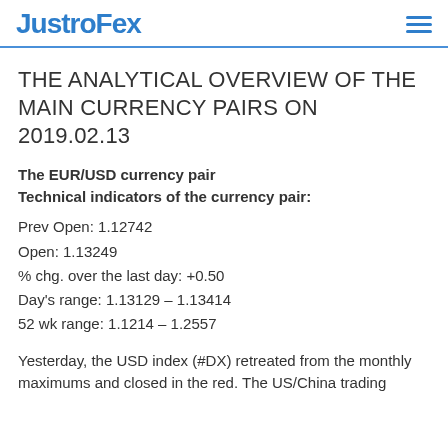JustroFex
THE ANALYTICAL OVERVIEW OF THE MAIN CURRENCY PAIRS ON 2019.02.13
The EUR/USD currency pair
Technical indicators of the currency pair:
Prev Open: 1.12742
Open: 1.13249
% chg. over the last day: +0.50
Day's range: 1.13129 – 1.13414
52 wk range: 1.1214 – 1.2557
Yesterday, the USD index (#DX) retreated from the monthly maximums and closed in the red. The US/China trading